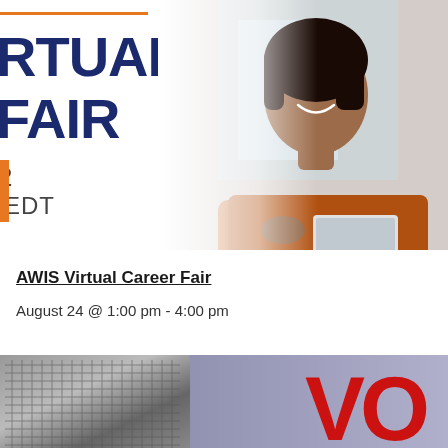[Figure (photo): Top banner with partial text 'RTUAL FAIR' in dark navy bold font and date/time '2 EDT' visible on left side, overlaid on a photo of a smiling woman in an orange shirt with arms crossed, with an orange horizontal line at top and orange vertical bar on left side]
AWIS Virtual Career Fair
August 24 @ 1:00 pm - 4:00 pm
[Figure (photo): Bottom partial banner showing a close-up of a microphone mesh on the left and large red 'VO' letters on the right against a blurred purple/blue background]